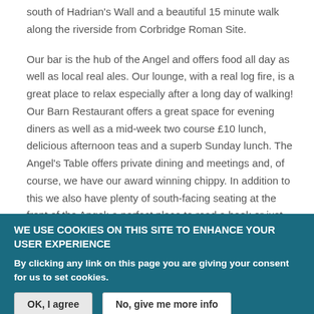south of Hadrian's Wall and a beautiful 15 minute walk along the riverside from Corbridge Roman Site.
Our bar is the hub of the Angel and offers food all day as well as local real ales. Our lounge, with a real log fire, is a great place to relax especially after a long day of walking! Our Barn Restaurant offers a great space for evening diners as well as a mid-week two course £10 lunch, delicious afternoon teas and a superb Sunday lunch.  The Angel's Table offers private dining and meetings and, of course, we have our award winning chippy. In addition to this we also have plenty of south-facing seating at the front of the Angel; a perfect place to read a book or just watch
WE USE COOKIES ON THIS SITE TO ENHANCE YOUR USER EXPERIENCE
By clicking any link on this page you are giving your consent for us to set cookies.